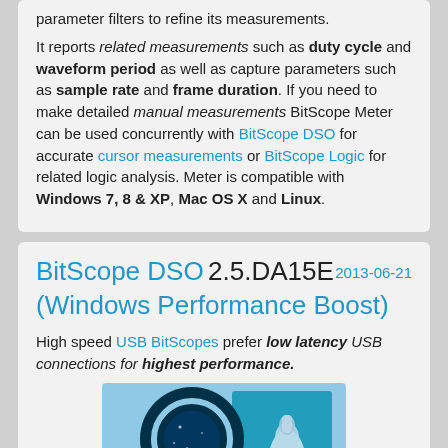parameter filters to refine its measurements.

It reports related measurements such as duty cycle and waveform period as well as capture parameters such as sample rate and frame duration. If you need to make detailed manual measurements BitScope Meter can be used concurrently with BitScope DSO for accurate cursor measurements or BitScope Logic for related logic analysis. Meter is compatible with Windows 7, 8 & XP, Mac OS X and Linux.
BitScope DSO 2.5.DA15E (Windows Performance Boost) — 2013-06-21
High speed USB BitScopes prefer low latency USB connections for highest performance.
[Figure (photo): Promotional image showing a circular dark blue element and a robotic/futuristic arm against a light blue background.]